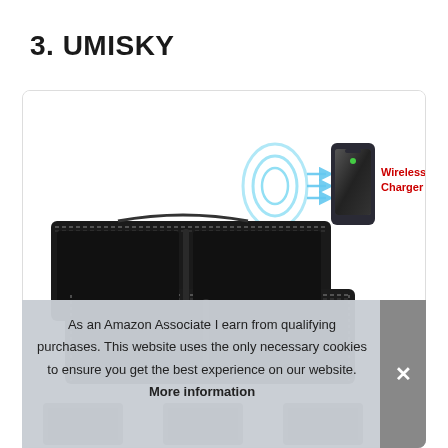3. UMISKY
[Figure (photo): Product photo of a black leather car seat organizer/caddy with stitching detail, shown with a wireless charger graphic (concentric circles with arrows pointing to a smartphone), labeled 'Wireless Charger' in red text. Below the product is a partial strip showing additional product views.]
As an Amazon Associate I earn from qualifying purchases. This website uses the only necessary cookies to ensure you get the best experience on our website. More information